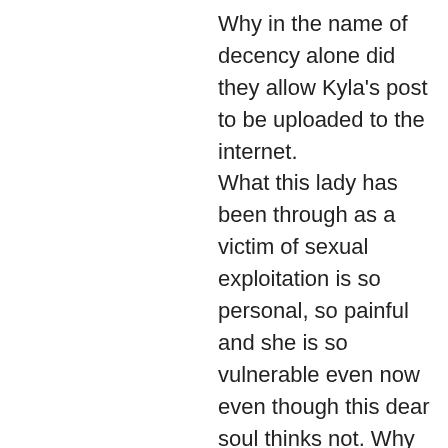Why in the name of decency alone did they allow Kyla's post to be uploaded to the internet. What this lady has been through as a victim of sexual exploitation is so personal, so painful and she is so vulnerable even now even though this dear soul thinks not. Why why why allow this experience on the internet and expose Kyla even more? Don't worry I do know the answers to my questions. It appears to anyone looking on we all know 'It's all about protecting poor sooky $erge," at anyone's expense. No none of us here on this site have anything at all to gain financially, we are just decent human beings who really